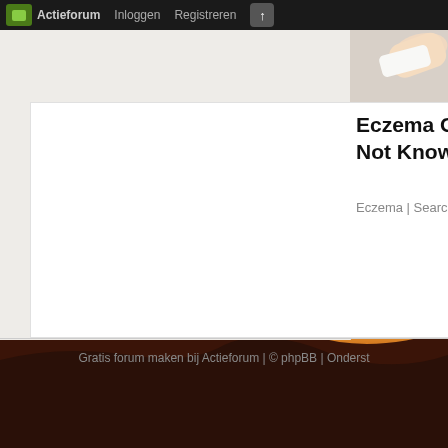Actieforum  Inloggen  Registreren
[Figure (screenshot): Partial view of a hand holding something white, cropped advertisement image in top right]
Eczema Creams That Most People Might Not Know About.
Eczema | Search Ads
Contenus Sponsorisés par Taboola
[Figure (photo): Sunset landscape photo showing sun low on horizon over dark flat terrain, warm orange and golden tones filling the lower half of the page]
Gratis forum maken bij Actieforum | © phpBB | Onderst